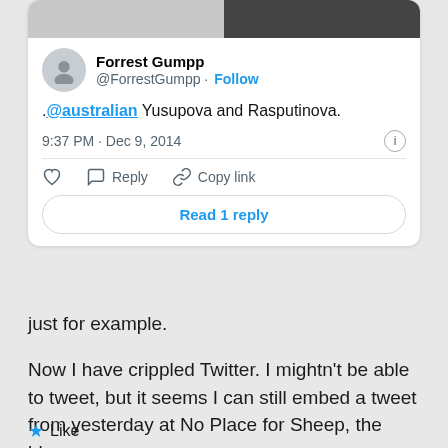[Figure (screenshot): Embedded tweet from @ForrestGumpp showing text '.@australian Yusupova and Rasputinova.' posted at 9:37 PM Dec 9, 2014 with Reply, Copy link actions and Read 1 reply button]
just for example.
Now I have crippled Twitter. I mightn't be able to tweet, but it seems I can still embed a tweet from yesterday at No Place for Sheep, the blog.
Like